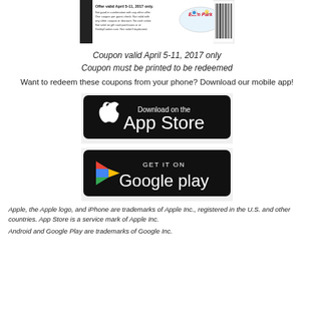[Figure (other): Eat'n Park coupon image showing offer valid April 5-11, 2017 only with barcode and logo]
Coupon valid April 5-11, 2017 only
Coupon must be printed to be redeemed
Want to redeem these coupons from your phone? Download our mobile app!
[Figure (other): Download on the App Store badge (black rounded rectangle with Apple logo)]
[Figure (other): GET IT ON Google Play badge (black rounded rectangle with Google Play logo)]
Apple, the Apple logo, and iPhone are trademarks of Apple Inc., registered in the U.S. and other countries. App Store is a service mark of Apple Inc.
Android and Google Play are trademarks of Google Inc.